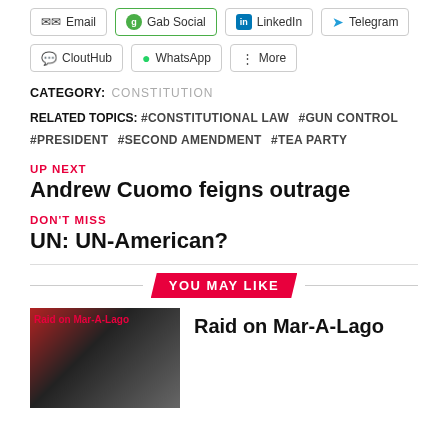Email | Gab Social | LinkedIn | Telegram
CloutHub | WhatsApp | More
CATEGORY: CONSTITUTION
RELATED TOPICS: #CONSTITUTIONAL LAW #GUN CONTROL #PRESIDENT #SECOND AMENDMENT #TEA PARTY
UP NEXT
Andrew Cuomo feigns outrage
DON'T MISS
UN: UN-American?
YOU MAY LIKE
Raid on Mar-A-Lago
[Figure (photo): Tactical/military personnel photo with red text overlay reading 'Raid on Mar-A-Lago']